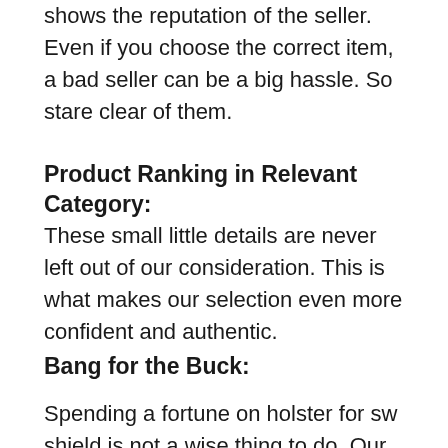shows the reputation of the seller. Even if you choose the correct item, a bad seller can be a big hassle. So stare clear of them.
Product Ranking in Relevant Category:
These small little details are never left out of our consideration. This is what makes our selection even more confident and authentic.
Bang for the Buck:
Spending a fortune on holster for sw shield is not a wise thing to do. Our every selected item should provide you the best value for the